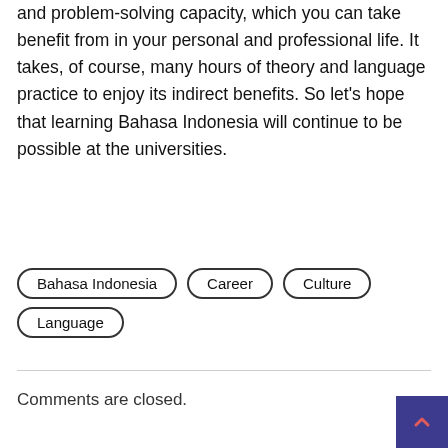and problem-solving capacity, which you can take benefit from in your personal and professional life. It takes, of course, many hours of theory and language practice to enjoy its indirect benefits. So let's hope that learning Bahasa Indonesia will continue to be possible at the universities.
Bahasa Indonesia
Career
Culture
Language
Comments are closed.